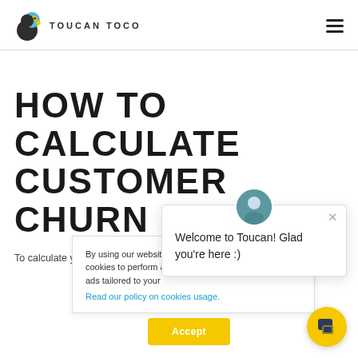TOUCAN TOCO
HOW TO CALCULATE CUSTOMER CHURN
To calculate your business'
By using our website cookies to perform a ads tailored to your. Read our policy on cookies usage.
Welcome to Toucan! Glad you're here :)